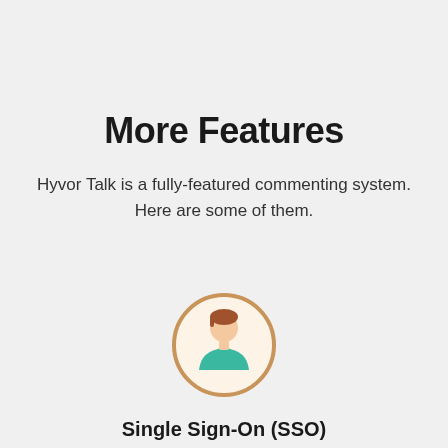More Features
Hyvor Talk is a fully-featured commenting system. Here are some of them.
[Figure (illustration): A user/person avatar icon inside a circular border with brown/tan outline, showing a figure with brown hair and teal shirt on a cream background]
Single Sign-On (SSO)
Scroll to Comments ↓
Easily set up... allow users to comment using their accounts on your system. See